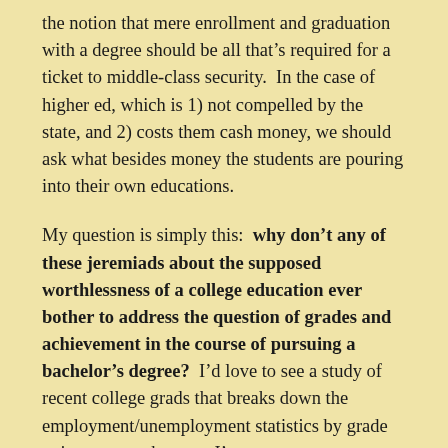the notion that mere enrollment and graduation with a degree should be all that's required for a ticket to middle-class security.  In the case of higher ed, which is 1) not compelled by the state, and 2) costs them cash money, we should ask what besides money the students are pouring into their own educations.
My question is simply this:  why don't any of these jeremiads about the supposed worthlessness of a college education ever bother to address the question of grades and achievement in the course of pursuing a bachelor's degree?  I'd love to see a study of recent college grads that breaks down the employment/unemployment statistics by grade point average, because I'm pretty sure